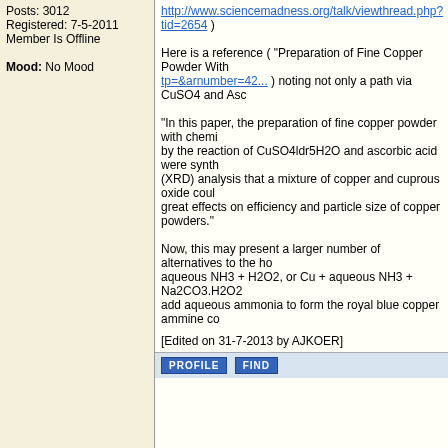Posts: 3012
Registered: 7-5-2011
Member Is Offline
Mood: No Mood
http://www.sciencemadness.org/talk/viewthread.php?tid=2654 )

Here is a reference ( "Preparation of Fine Copper Powder With
tp=&arnumber=42... ) noting not only a path via CuSO4 and Asc

"In this paper, the preparation of fine copper powder with chemi
by the reaction of CuSO4ldr5H2O and ascorbic acid were synth
(XRD) analysis that a mixture of copper and cuprous oxide coul
great effects on efficiency and particle size of copper powders."

Now, this may present a larger number of alternatives to the ho
aqueous NH3 + H2O2, or Cu + aqueous NH3 + Na2CO3.H2O2
add aqueous ammonia to form the royal blue copper ammine co
[Edited on 31-7-2013 by AJKOER]
PROFILE   FIND
bfesser
Resident Wikipedian
★★★★★

Posts: 2114
Registered: 29-1-2008
Member Is Offline
Mood: No Mood
posted on 30-7-2013 at 16:43
<strong>JKOER</strong>, I linked to that thread on page 2 of th
researching ascorbate redox reactions, but now that I see the ti
tid=10601&page=28#pid142659">download in <strong>Referen

[Edited on 31.7.13 by bfesser]